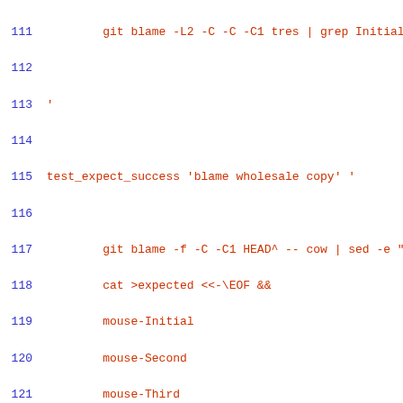Code listing lines 111-140 showing git blame test script in shell
111     git blame -L2 -C -C -C1 tres | grep Initial
112
113 '
114
115 test_expect_success 'blame wholesale copy' '
116
117         git blame -f -C -C1 HEAD^ -- cow | sed -e "$
118         cat >expected <<-\EOF &&
119         mouse-Initial
120         mouse-Second
121         mouse-Third
122         EOF
123         test_cmp expected current
124
125 '
126
127 test_expect_success 'blame wholesale copy and more'
128
129         git blame -f -C -C1 HEAD -- cow | sed -e "$p
130         cat >expected <<-\EOF &&
131         mouse-Initial
132         mouse-Second
133         cow-Fifth
134         mouse-Third
135         EOF
136         test_cmp expected current
137
138 '
139
140 test_expect_success 'blame wholesale copy and more i